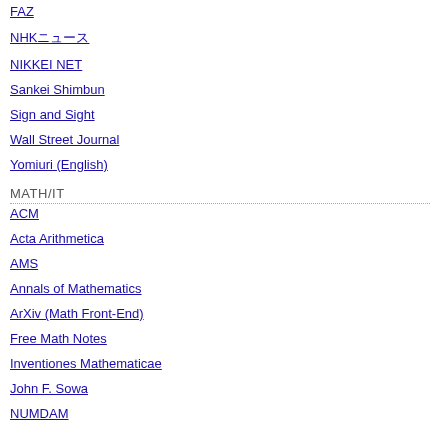FAZ
NHKニュース
NIKKEI NET
Sankei Shimbun
Sign and Sight
Wall Street Journal
Yomiuri (English)
MATH/IT
ACM
Acta Arithmetica
AMS
Annals of Mathematics
ArXiv (Math Front-End)
Free Math Notes
Inventiones Mathematicae
John F. Sowa
NUMDAM
years at Washington's St Patrick's D... leader, finds himself persona non gra... Pete King, slam their doors in his fac...
Mr Adams has every reason to feel a... hard, to bring Irish republicanism int... from terrorist to ballot box politician... and Washington. The ostensible reas... than a bank raid, of which Mr Adams... a dime-a-dozen killing in the Short S... new? Nor does the Great American B... Adams was welcomed last year and t...
When the White House first invited S... suggested to a presidential aide that t... Mr Adams was manifestly a major fo... organisation had killed some three th... the entire British Cabinet, not once b... hardly fit to be a bosom pal of a pres... negotiations were under way betwee...
I received a long lecture in realpolitik... bandied about, said my friend. All op... violence when politics fails them. Br... Ireland.